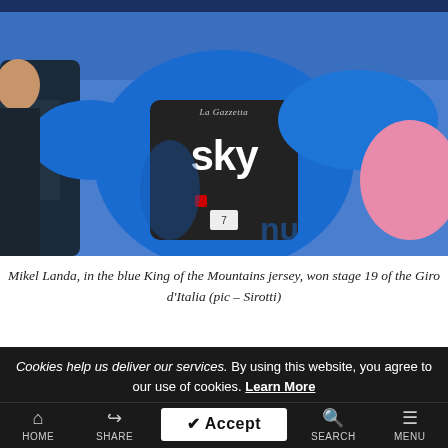[Figure (photo): Cyclist Mikel Landa wearing a blue Team Sky jersey with the blue King of the Mountains jersey over it, at the Giro d'Italia.]
Mikel Landa, in the blue King of the Mountains jersey, won stage 19 of the Giro d'Italia (pic – Sirotti)
Cookies help us deliver our services. By using this website, you agree to our use of cookies. Learn More
HOME   SHARE   Accept   SEARCH   MENU